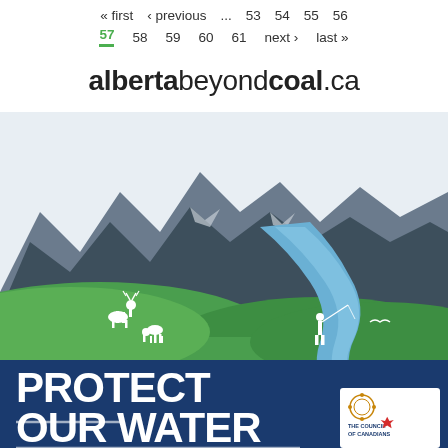« first  ‹ previous  ...  53  54  55  56
57  58  59  60  61  next ›  last »
albertabeyondcoal.ca
[Figure (illustration): Alberta Beyond Coal campaign illustration showing mountains in dark grey/blue, green rolling hills, a winding blue river, white silhouette deer and a person fly fishing, with large text 'PROTECT OUR WATER' in white on a dark blue background. Bottom right shows Alberta Environmental Network and The Council of Canadians logos.]